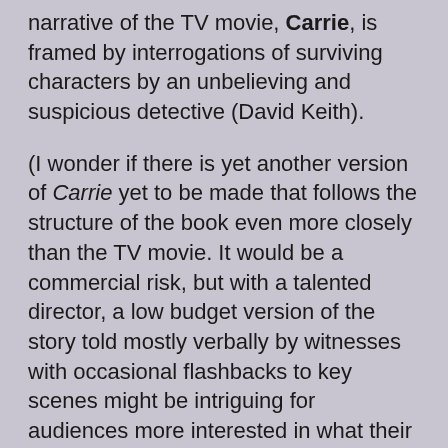narrative of the TV movie, Carrie, is framed by interrogations of surviving characters by an unbelieving and suspicious detective (David Keith).
(I wonder if there is yet another version of Carrie yet to be made that follows the structure of the book even more closely than the TV movie. It would be a commercial risk, but with a talented director, a low budget version of the story told mostly verbally by witnesses with occasional flashbacks to key scenes might be intriguing for audiences more interested in what their imaginations can conjure than what special effects can show them.)